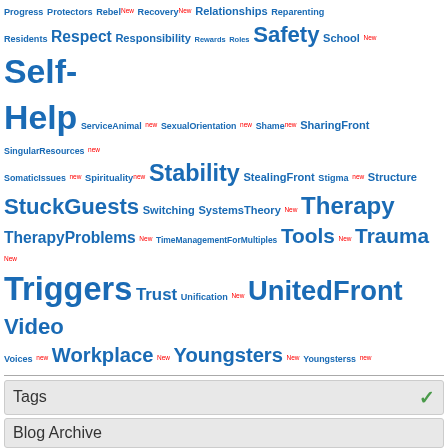[Figure (other): Tag cloud with various topic tags in blue and red 'New' labels, varying font sizes indicating frequency or importance. Tags include: Progress, Protectors, Rebel, Recovery, Relationships, Reparenting, Residents, Respect, Responsibility, Rewards, Roles, Safety, School, Self-Help, ServiceAnimal, SexualOrientation, Shame, SharingFront, SingularResources, SomaticIssues, Spirituality, Stability, StealingFront, Stigma, Structure, StuckGuests, Switching, SystemsTheory, Therapy, TherapyProblems, TimeManagementForMultiples, Tools, Trauma, Triggers, Trust, Unification, UnitedFront, Video, Voices, Workplace, Youngsters, Youngsterss]
Tags
Blog Archive
BLOG RSS 2.0 (feed badge) BLOG ATOM (feed badge) Recent Changes - Search: [input] Go